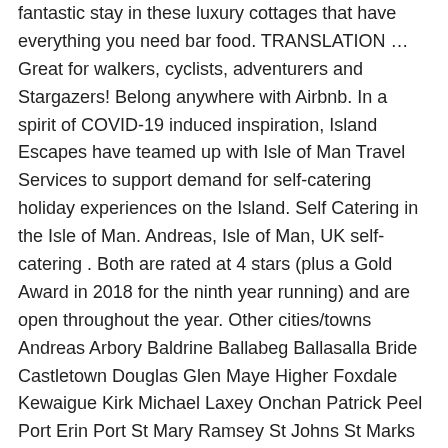fantastic stay in these luxury cottages that have everything you need bar food. TRANSLATION … Great for walkers, cyclists, adventurers and Stargazers! Belong anywhere with Airbnb. In a spirit of COVID-19 induced inspiration, Island Escapes have teamed up with Isle of Man Travel Services to support demand for self-catering holiday experiences on the Island. Self Catering in the Isle of Man. Andreas, Isle of Man, UK self-catering . Both are rated at 4 stars (plus a Gold Award in 2018 for the ninth year running) and are open throughout the year. Other cities/towns Andreas Arbory Baldrine Ballabeg Ballasalla Bride Castletown Douglas Glen Maye Higher Foxdale Kewaigue Kirk Michael Laxey Onchan Patrick Peel Port Erin Port St Mary Ramsey St Johns St Marks Union Mills; Enhanced Listings A simply fantastic stay in these luxury cottages that have everything you need bar food. Ideal for families or groups walking and cycling holidays. Beechwood Rise Douglas Isle of Man IM2 5NE Quality self catering accomodation in Douglas Isle of Man Simply stunning self-catering apartments in a secluded area of Douglas, with a relaxing private garden and parking. Kiondroghad Road, Andreas, Isle of Man, GB. 5 out of 5 Room with a lovely view